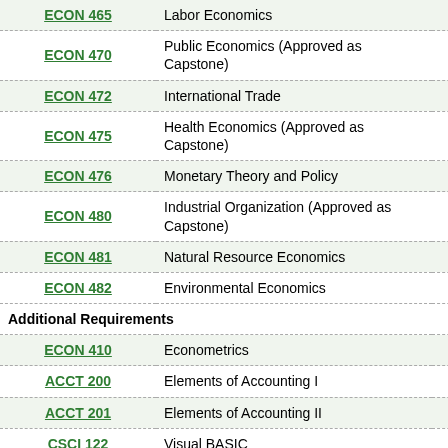| Course | Title | Credits |
| --- | --- | --- |
| ECON 465 | Labor Economics |  |
| ECON 470 | Public Economics (Approved as Capstone) |  |
| ECON 472 | International Trade |  |
| ECON 475 | Health Economics (Approved as Capstone) |  |
| ECON 476 | Monetary Theory and Policy |  |
| ECON 480 | Industrial Organization (Approved as Capstone) |  |
| ECON 481 | Natural Resource Economics |  |
| ECON 482 | Environmental Economics |  |
| Additional Requirements |  |  |
| ECON 410 | Econometrics | 3 |
| ACCT 200 | Elements of Accounting I | 3 |
| ACCT 201 | Elements of Accounting II | 3 |
| CSCI 122 | Visual BASIC | 3 |
| Additional Electives: Select 3 credits from the following |  |  |
| BUSN 340 | International Business |  |
| BUSN 341 | Global Business Environment |  |